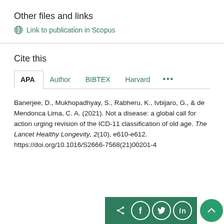Other files and links
Link to publication in Scopus
Cite this
APA  Author  BIBTEX  Harvard  ...
Banerjee, D., Mukhopadhyay, S., Rabheru, K., Ivbijaro, G., & de Mendonca Lima, C. A. (2021). Not a disease: a global call for action urging revision of the ICD-11 classification of old age. The Lancet Healthy Longevity, 2(10), e610-e612. https://doi.org/10.1016/S2666-7568(21)00201-4